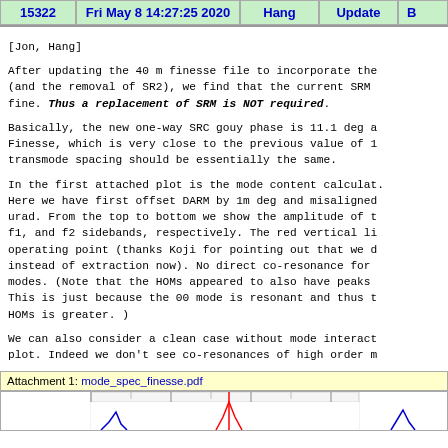15322 | Fri May 8 14:27:25 2020 | Hang | Update | B
[Jon, Hang]

After updating the 40 m finesse file to incorporate the (and the removal of SR2), we find that the current SRM fine. Thus a replacement of SRM is NOT required.

Basically, the new one-way SRC gouy phase is 11.1 deg a Finesse, which is very close to the previous value of 1 transmode spacing should be essentially the same.

In the first attached plot is the mode content calculat. Here we have first offset DARM by 1m deg and misaligned urad. From the top to bottom we show the amplitude of t f1, and f2 sidebands, respectively. The red vertical li operating point (thanks Koji for pointing out that we d instead of extraction now). No direct co-resonance for modes. (Note that the HOMs appeared to also have peaks This is just because the 00 mode is resonant and thus t HOMs is greater. )

We can also consider a clean case without mode interact plot. Indeed we don't see co-resonances of high order m
Attachment 1: mode_spec_finesse.pdf
[Figure (continuous-plot): Partial view of a spectral plot with vertical lines, showing a ruler/scale at top and waveform traces in blue and red below.]